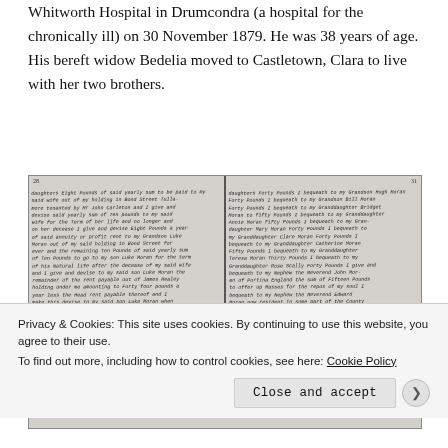Whitworth Hospital in Drumcondra (a hospital for the chronically ill) on 30 November 1879. He was 38 years of age. His bereft widow Bedelia moved to Castletown, Clara to live with her two brothers.
[Figure (photo): Two pages of handwritten historical document/will, showing cursive script in black ink on aged paper. Left page numbered 28, right page numbered 31. Text appears to be a legal will from the 19th century listing bequests.]
[Figure (photo): Partial view of another page of the handwritten document, showing the top portion with handwritten text.]
Privacy & Cookies: This site uses cookies. By continuing to use this website, you agree to their use.
To find out more, including how to control cookies, see here: Cookie Policy
Close and accept